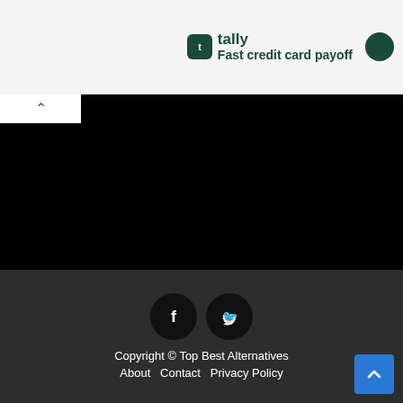[Figure (screenshot): Tally app advertisement banner showing green Tally logo icon, 'tally' text and 'Fast credit card payoff' tagline on light gray background]
[Figure (screenshot): Black video/media player area taking most of the middle section of the page, with a small white collapse tab with upward chevron arrow on the left side]
[Figure (screenshot): Website footer with dark background (#2d2d2d), Facebook and Twitter social icons, copyright text, navigation links, and blue back-to-top button]
Copyright © Top Best Alternatives
About   Contact   Privacy Policy